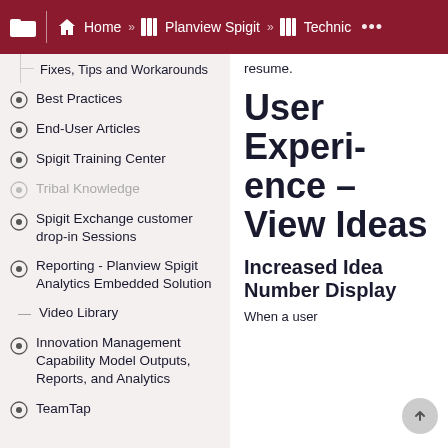Home » Planview Spigit » Technic ...
Fixes, Tips and Workarounds
Best Practices
End-User Articles
Spigit Training Center
Tribal Knowledge
Spigit Exchange customer drop-in Sessions
Reporting - Planview Spigit Analytics Embedded Solution
Video Library
Innovation Management Capability Model Outputs, Reports, and Analytics
TeamTap
resume.
User Experience – View Ideas
Increased Idea Number Display
When a user